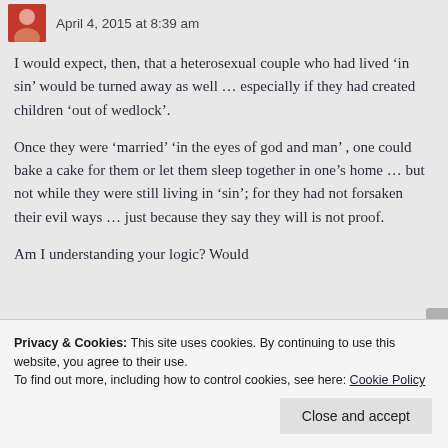April 4, 2015 at 8:39 am
I would expect, then, that a heterosexual couple who had lived ‘in sin’ would be turned away as well … especially if they had created children ‘out of wedlock’.
Once they were ‘married’ ‘in the eyes of god and man’ , one could bake a cake for them or let them sleep together in one’s home … but not while they were still living in ‘sin’; for they had not forsaken their evil ways … just because they say they will is not proof.
Am I understanding your logic? Would
Privacy & Cookies: This site uses cookies. By continuing to use this website, you agree to their use.
To find out more, including how to control cookies, see here: Cookie Policy